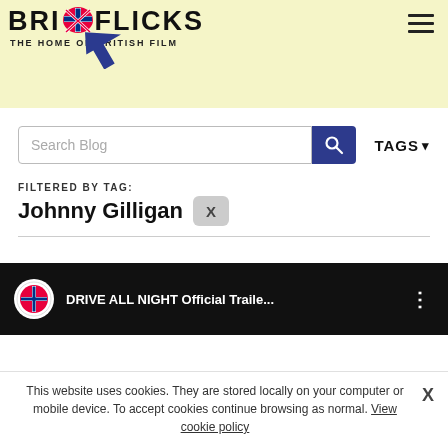[Figure (logo): BritFlicks logo with Union Jack heart graphic and tagline 'THE HOME OF BRITISH FILM']
Search Blog
TAGS ▾
FILTERED BY TAG:
Johnny Gilligan
[Figure (screenshot): YouTube-style video thumbnail showing DRIVE ALL NIGHT Official Trailer... with BritFlicks logo and three-dot menu]
This website uses cookies. They are stored locally on your computer or mobile device. To accept cookies continue browsing as normal. View cookie policy